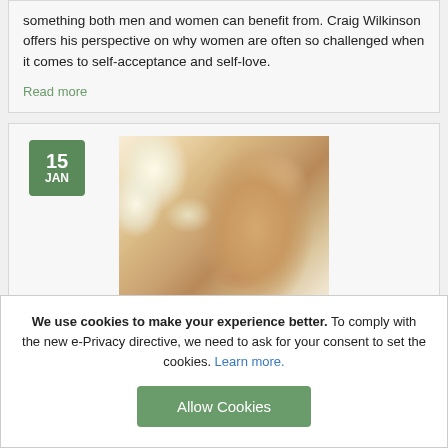something both men and women can benefit from. Craig Wilkinson offers his perspective on why women are often so challenged when it comes to self-acceptance and self-love.
Read more
[Figure (photo): Date badge showing '15 JAN' in green, with a photo of a woman's face close-up with white flowers]
Natural Glam
We use cookies to make your experience better. To comply with the new e-Privacy directive, we need to ask for your consent to set the cookies. Learn more.
Allow Cookies